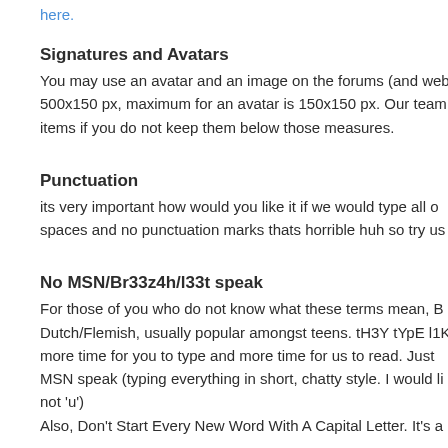here.
Signatures and Avatars
You may use an avatar and an image on the forums (and web 500x150 px, maximum for an avatar is 150x150 px. Our team items if you do not keep them below those measures.
Punctuation
its very important how would you like it if we would type all o spaces and no punctuation marks thats horrible huh so try us
No MSN/Br33z4h/l33t speak
For those of you who do not know what these terms mean, B Dutch/Flemish, usually popular amongst teens. tH3Y tYpE l1K more time for you to type and more time for us to read. Just MSN speak (typing everything in short, chatty style. I would li not 'u')
Also, Don't Start Every New Word With A Capital Letter. It's a
Be nice to other (team) members
The team members deserve to be treated nicely. They work k good time on this site. We want our members to treat each o